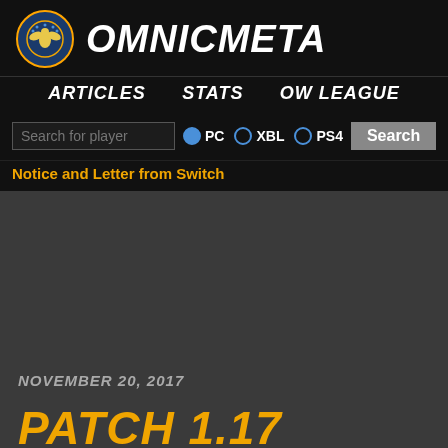OMNICMETA
ARTICLES    STATS    OW LEAGUE
Search for player  PC  XBL  PS4  Search
Notice and Letter from Switch
NOVEMBER 20, 2017
PATCH 1.17 ANALYSIS: WELCOME BACK, GRANDMA!